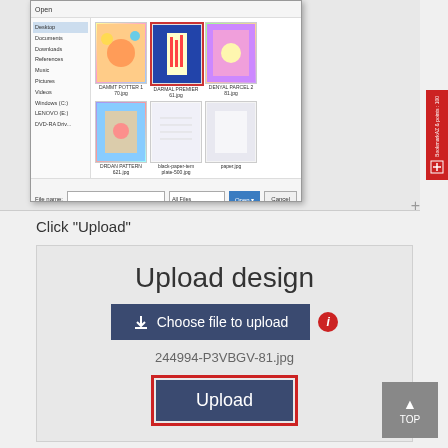[Figure (screenshot): Windows file open dialog showing image thumbnails with a file selected]
Click “Upload”
[Figure (screenshot): Upload design interface showing 'Upload design' title, 'Choose file to upload' button, filename '244994-P3VBGV-81.jpg', and an 'Upload' button highlighted with a red border]